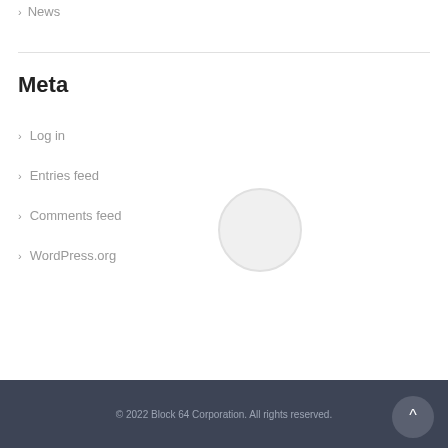> News
Meta
> Log in
> Entries feed
> Comments feed
> WordPress.org
© 2022 Block 64 Corporation. All rights reserved.